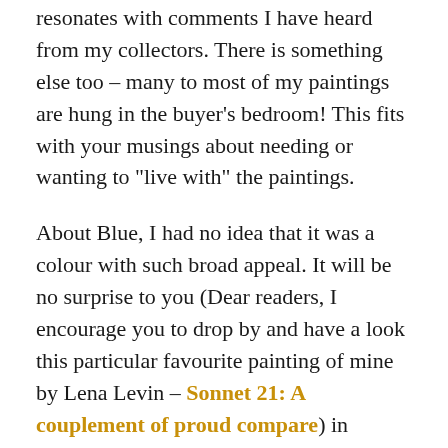resonates with comments I have heard from my collectors. There is something else too – many to most of my paintings are hung in the buyer's bedroom! This fits with your musings about needing or wanting to "live with" the paintings.
About Blue, I had no idea that it was a colour with such broad appeal. It will be no surprise to you (Dear readers, I encourage you to drop by and have a look this particular favourite painting of mine by Lena Levin – Sonnet 21: A couplement of proud compare) in relation to blue) but I often work with four different blue pigments and they